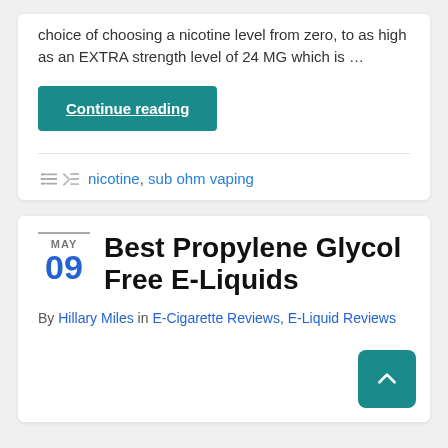choice of choosing a nicotine level from zero, to as high as an EXTRA strength level of 24 MG which is …
Continue reading
nicotine, sub ohm vaping
Best Propylene Glycol Free E-Liquids
By Hillary Miles in E-Cigarette Reviews, E-Liquid Reviews